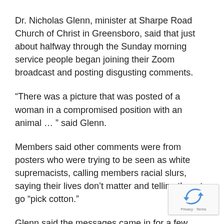Dr. Nicholas Glenn, minister at Sharpe Road Church of Christ in Greensboro, said that just about halfway through the Sunday morning service people began joining their Zoom broadcast and posting disgusting comments.
“There was a picture that was posted of a woman in a compromised position with an animal … ” said Glenn.
Members said other comments were from posters who were trying to be seen as white supremacists, calling members racial slurs, saying their lives don’t matter and telling them to go “pick cotton.”
Glenn said the messages came in for a few minutes from several different usernames before he was able to ban them from the chat.